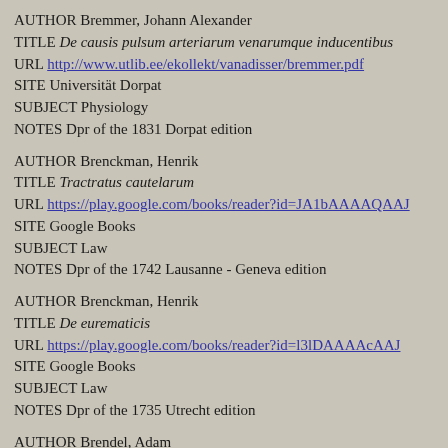AUTHOR Bremmer, Johann Alexander
TITLE De causis pulsum arteriarum venarumque inducentibus
URL http://www.utlib.ee/ekollekt/vanadisser/bremmer.pdf
SITE Universität Dorpat
SUBJECT Physiology
NOTES Dpr of the 1831 Dorpat edition
AUTHOR Brenckman, Henrik
TITLE Tractratus cautelarum
URL https://play.google.com/books/reader?id=JA1bAAAAQAAJ
SITE Google Books
SUBJECT Law
NOTES Dpr of the 1742 Lausanne - Geneva edition
AUTHOR Brenckman, Henrik
TITLE De eurematicis
URL https://play.google.com/books/reader?id=l3lDAAAAcAAJ
SITE Google Books
SUBJECT Law
NOTES Dpr of the 1735 Utrecht edition
AUTHOR Brendel, Adam
TITLE De embryone in ovulo ane conceptionem praeexistente
URL https://archive.org/details/disputationumana5175hall (go to p.387)